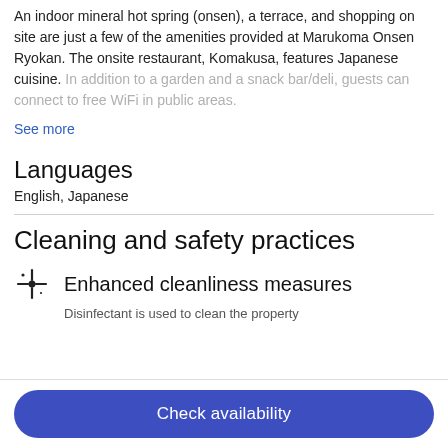An indoor mineral hot spring (onsen), a terrace, and shopping on site are just a few of the amenities provided at Marukoma Onsen Ryokan. The onsite restaurant, Komakusa, features Japanese cuisine. In addition to a garden and a snack bar/deli, guests can connect to free WiFi in public areas.
See more
Languages
English, Japanese
Cleaning and safety practices
Enhanced cleanliness measures
Disinfectant is used to clean the property
Check availability